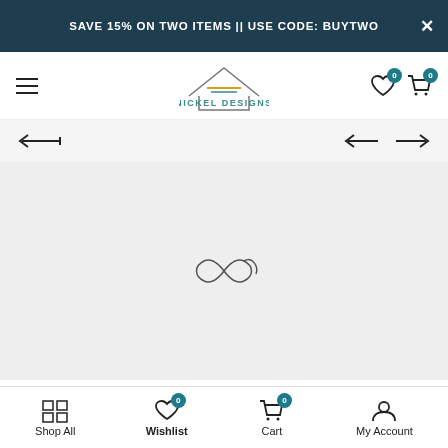SAVE 15% ON TWO ITEMS || USE CODE: BUYTWO
[Figure (logo): Nickel Designs logo with house icon and pencil, teal text]
[Figure (screenshot): E-commerce product page with loading spinner in large grey product image area, navigation arrows for product carousel]
Shop All  Wishlist  Cart  My Account